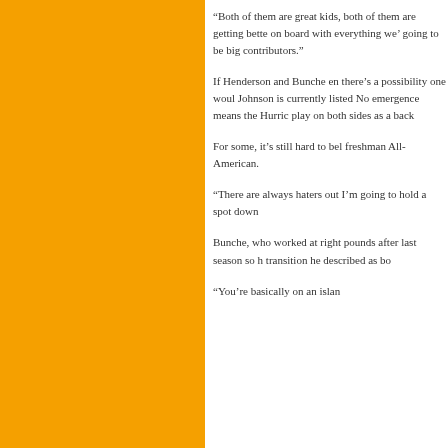[Figure (other): Large orange rectangle panel on the left side of the page]
“Both of them are great kids, both of them are getting better, on board with everything we’re going to be big contributors.”
If Henderson and Bunche en there’s a possibility one woul Johnson is currently listed No emergence means the Hurric play on both sides as a back
For some, it’s still hard to bel freshman All-American.
“There are always haters out I’m going to hold a spot down
Bunche, who worked at right pounds after last season so h transition he described as bo
“You’re basically on an islan